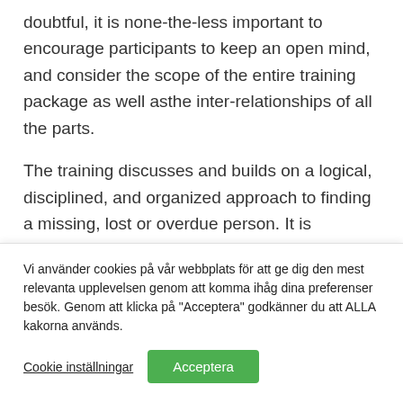doubtful, it is none-the-less important to encourage participants to keep an open mind, and consider the scope of the entire training package as well asthe inter-relationships of all the parts.
The training discusses and builds on a logical, disciplined, and organized approach to finding a missing, lost or overdue person. It is important to stress that common sense, experience and professional needs should provide both direction and
Vi använder cookies på vår webbplats för att ge dig den mest relevanta upplevelsen genom att komma ihåg dina preferenser besök. Genom att klicka på "Acceptera" godkänner du att ALLA kakorna används.
Cookie inställningar
Acceptera